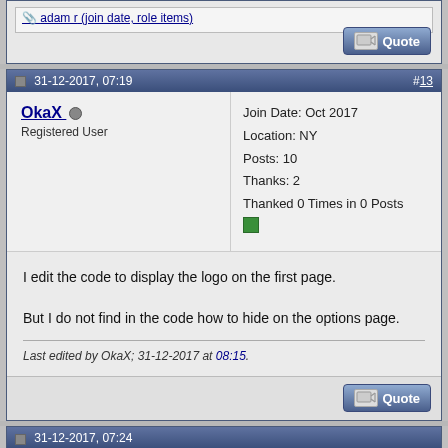[Figure (screenshot): Top partial post showing a quoted reply with a Quote button in the bottom right]
31-12-2017, 07:19 #13
OkaX
Registered User
Join Date: Oct 2017
Location: NY
Posts: 10
Thanks: 2
Thanked 0 Times in 0 Posts
I edit the code to display the logo on the first page.

But I do not find in the code how to hide on the options page.
Last edited by OkaX; 31-12-2017 at 08:15.
31-12-2017, 07:24
KaktoR
Lame User